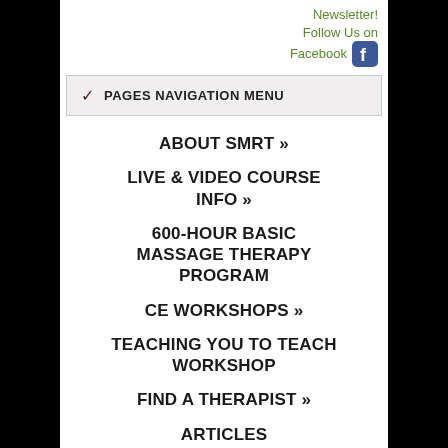Newsletter! Follow Us on Facebook
PAGES NAVIGATION MENU
ABOUT SMRT »
LIVE & VIDEO COURSE INFO »
600-HOUR BASIC MASSAGE THERAPY PROGRAM
CE WORKSHOPS »
TEACHING YOU TO TEACH WORKSHOP
FIND A THERAPIST »
ARTICLES
POLICIES